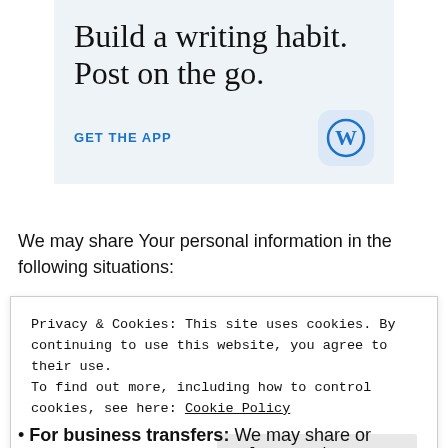[Figure (infographic): WordPress app advertisement with light blue background. Large serif text reads 'Build a writing habit. Post on the go.' with 'GET THE APP' link in blue and a WordPress logo icon in a rounded square.]
We may share Your personal information in the following situations:
Privacy & Cookies: This site uses cookies. By continuing to use this website, you agree to their use.
To find out more, including how to control cookies, see here: Cookie Policy
For business transfers: We may share or